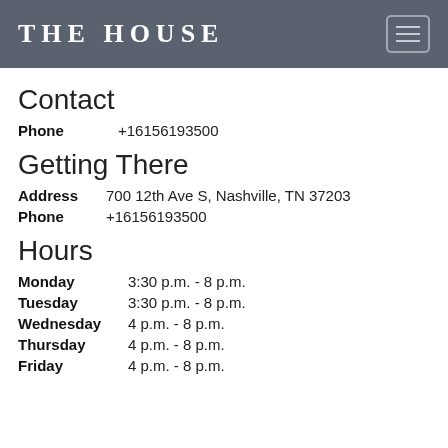THE HOUSE
Contact
Phone   +16156193500
Getting There
Address  700 12th Ave S, Nashville, TN 37203
Phone    +16156193500
Hours
Monday      3:30 p.m. - 8 p.m.
Tuesday     3:30 p.m. - 8 p.m.
Wednesday  4 p.m. - 8 p.m.
Thursday    4 p.m. - 8 p.m.
Friday      4 p.m. - 8 p.m.